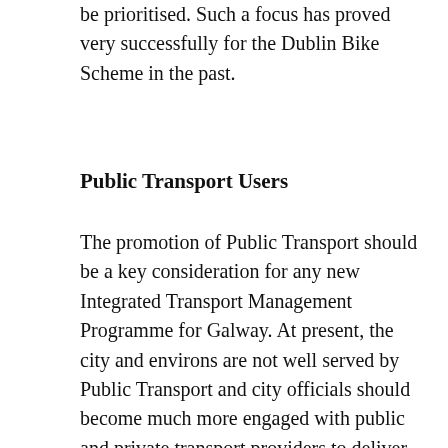be prioritised. Such a focus has proved very successfully for the Dublin Bike Scheme in the past.
Public Transport Users
The promotion of Public Transport should be a key consideration for any new Integrated Transport Management Programme for Galway. At present, the city and environs are not well served by Public Transport and city officials should become much more engaged with public and private transport providers to deliver a better integrated service that will help remove many private cars from the city and urban areas. One of the more obvious examples of this is the mono-centric nature of Bus